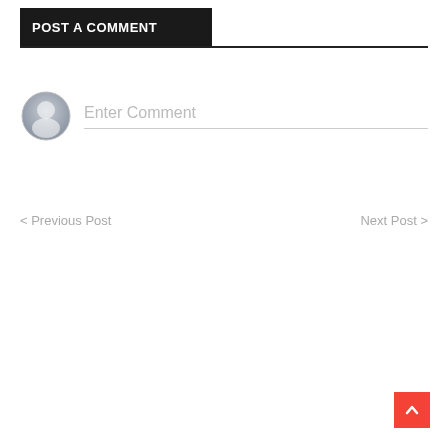POST A COMMENT
[Figure (illustration): Comment input area with a generic user avatar icon on the left and a text field placeholder reading 'Enter Comment' with a bottom border on the right]
< Previous Post
Next Post >
[Figure (illustration): Red scroll-to-top button with a white upward chevron arrow in the bottom-right corner]